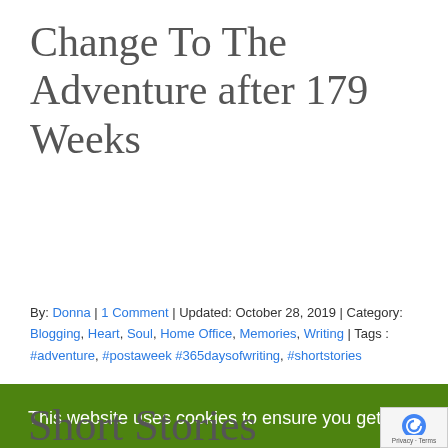Change To The Adventure after 179 Weeks
By: Donna | 1 Comment | Updated: October 28, 2019 | Category: Blogging, Heart, Soul, Home Office, Memories, Writing | Tags : #adventure, #postaweek #365daysofwriting, #shortstories
[Figure (screenshot): Cookie consent banner with green background. Text: 'This website uses cookies to ensure you get the best experience on our website.' with 'Learn more' link, and 'Decline' and 'Accept' buttons. A close (x) button in top right.]
Short Stories